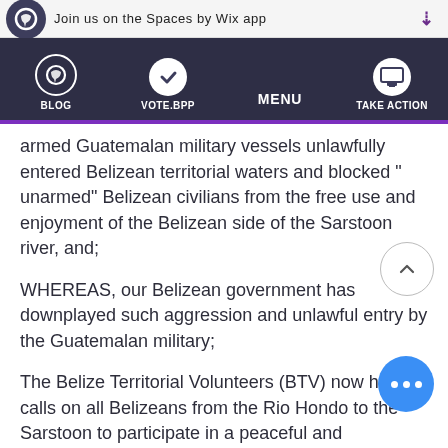[Figure (screenshot): Website header with 'Join us on the Spaces by Wix app' banner and navigation bar with BLOG, VOTE.BPP, MENU, TAKE ACTION items]
armed Guatemalan military vessels unlawfully entered Belizean territorial waters and blocked " unarmed" Belizean civilians from the free use and enjoyment of the Belizean side of the Sarstoon river, and;
WHEREAS, our Belizean government has downplayed such aggression and unlawful entry by the Guatemalan military;
The Belize Territorial Volunteers (BTV) now hereby calls on all Belizeans from the Rio Hondo to the Sarstoon to participate in a peaceful and